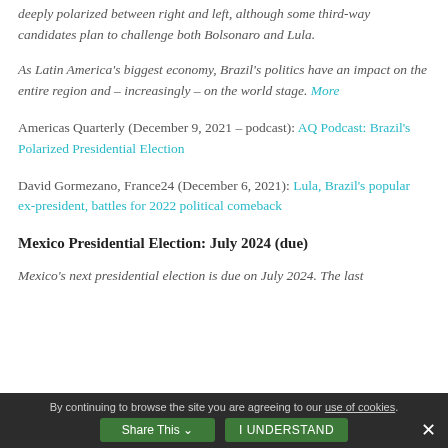deeply polarized between right and left, although some third-way candidates plan to challenge both Bolsonaro and Lula.
As Latin America's biggest economy, Brazil's politics have an impact on the entire region and – increasingly – on the world stage. More
Americas Quarterly (December 9, 2021 – podcast): AQ Podcast: Brazil's Polarized Presidential Election
David Gormezano, France24 (December 6, 2021): Lula, Brazil's popular ex-president, battles for 2022 political comeback
Mexico Presidential Election: July 2024 (due)
Mexico's next presidential election is due on July 2024. The last
By continuing to browse the site you are agreeing to our use of cookies.
Share This   I UNDERSTAND